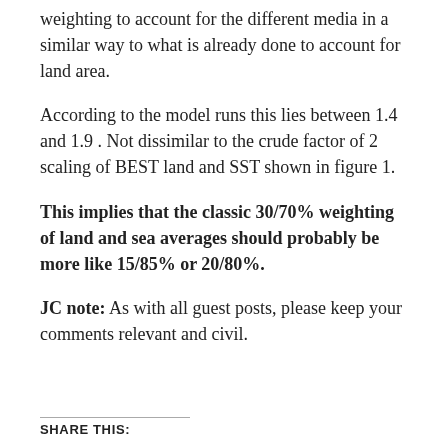weighting to account for the different media in a similar way to what is already done to account for land area.
According to the model runs this lies between 1.4 and 1.9 . Not dissimilar to the crude factor of 2 scaling of BEST land and SST shown in figure 1.
This implies that the classic 30/70% weighting of land and sea averages should probably be more like 15/85% or 20/80%.
JC note:  As with all guest posts, please keep your comments relevant and civil.
SHARE THIS: